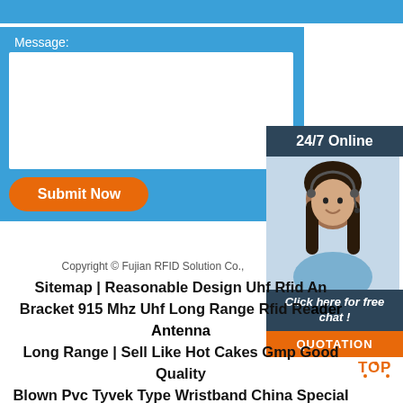[Figure (screenshot): Website contact form with blue background, message textarea, orange Submit Now button]
[Figure (screenshot): 24/7 Online chat widget with dark header, photo of woman with headset, Click here for free chat button, and orange QUOTATION button]
Copyright © Fujian RFID Solution Co.,
Sitemap | Reasonable Design Uhf Rfid Antenna Bracket 915 Mhz Uhf Long Range Rfid Reader Antenna Long Range | Sell Like Hot Cakes Gmp Good Quality Blown Pvc Tyvek Type Wristband China Special Price | After-Sale Warranty Oem Custom Pvc Warranty Card Luxury Watch